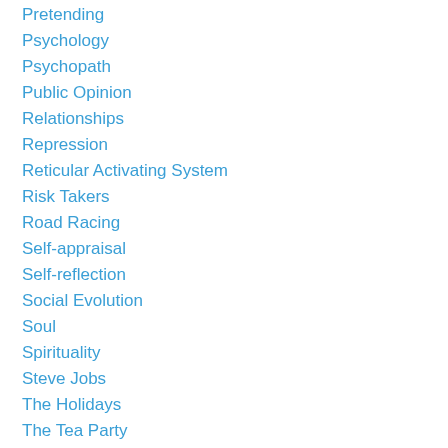Pretending
Psychology
Psychopath
Public Opinion
Relationships
Repression
Reticular Activating System
Risk Takers
Road Racing
Self-appraisal
Self-reflection
Social Evolution
Soul
Spirituality
Steve Jobs
The Holidays
The Tea Party
To Forgive
Trust
Two Legged Snake
Two Legged Snakes